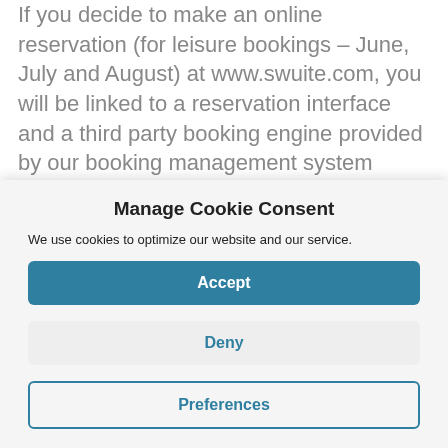If you decide to make an online reservation (for leisure bookings – June, July and August) at www.swuite.com, you will be linked to a reservation interface and a third party booking engine provided by our booking management system vendor The Booking Button (SiteMinder).
Manage Cookie Consent
We use cookies to optimize our website and our service.
Accept
Deny
Preferences